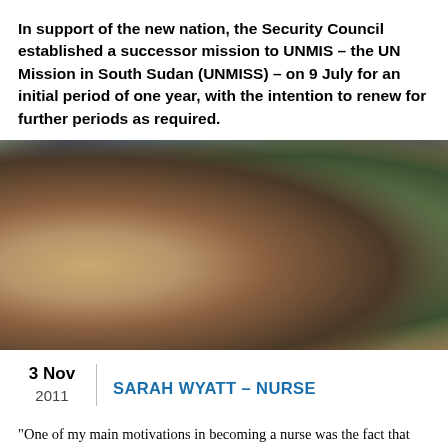In support of the new nation, the Security Council established a successor mission to UNMIS – the UN Mission in South Sudan (UNMISS) – on 9 July for an initial period of one year, with the intention to renew for further periods as required.
[Figure (photo): Photo of people from behind, one person with blonde hair in a braid wearing a blue shirt, another wearing a military-style cap and tan/camouflage clothing, with foliage in the background.]
3 Nov 2011
SARAH WYATT – NURSE
"One of my main motivations in becoming a nurse was the fact that this career gives the possibility to go anywhere and help people along the way. I have been a nurse for 6 years, worked in New Zealand,